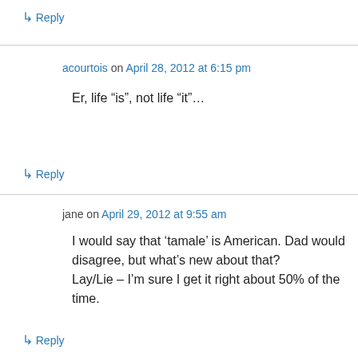↳ Reply
acourtois on April 28, 2012 at 6:15 pm
Er, life “is”, not life “it”…
↳ Reply
jane on April 29, 2012 at 9:55 am
I would say that 'tamale' is American. Dad would disagree, but what’s new about that?
Lay/Lie – I’m sure I get it right about 50% of the time.
↳ Reply